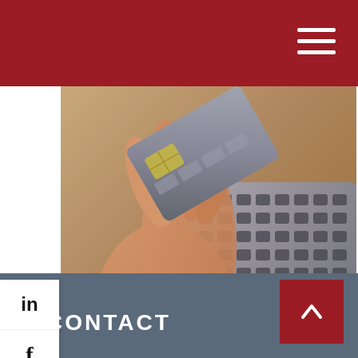[Figure (photo): A hand holding a credit card in front of a laptop keyboard, suggesting online payment activity.]
Paying Off a Credit Card
Enter various payment options and determine how long it may take to pay off a credit card.
CONTACT